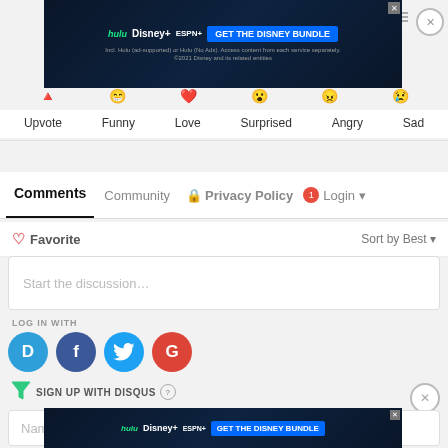[Figure (screenshot): Disney Bundle advertisement banner at top: hulu, Disney+, ESPN+ logos with 'GET THE DISNEY BUNDLE' button on dark blue background. Fine print: 'Incl. Hulu (ad-supported) or Hulu (No Ads). Access content from each service separately. ©2021 Disney and its related entities']
Upvote   Funny   Love   Surprised   Angry   Sad
Comments   Community   Privacy Policy   1   Login
♡ Favorite
Sort by Best ▾
Start the discussion…
LOG IN WITH
[Figure (logo): Social login icons: Disqus (D), Facebook (F), Twitter bird, Google (G) colored circles]
SIGN UP WITH DISQUS ?
Name
[Figure (screenshot): Disney Bundle advertisement banner at bottom: hulu, Disney+, ESPN+ logos with 'GET THE DISNEY BUNDLE' button on dark blue background. Fine print: 'Incl. Hulu (ad-supported) or Hulu (No Ads). Access content from each service separately. ©2021 Disney and its related entities']